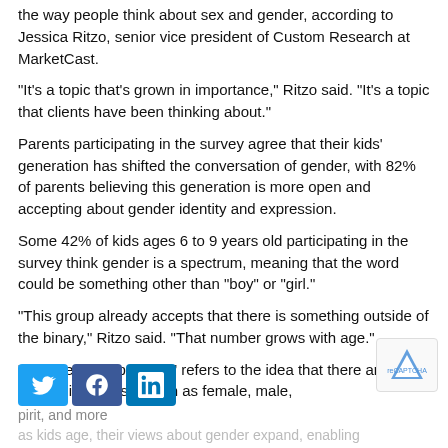the way people think about sex and gender, according to Jessica Ritzo, senior vice president of Custom Research at MarketCast.
“It’s a topic that’s grown in importance,” Ritzo said. “It’s a topic that clients have been thinking about.”
Parents participating in the survey agree that their kids' generation has shifted the conversation of gender, with 82% of parents believing this generation is more open and accepting about gender identity and expression.
Some 42% of kids ages 6 to 9 years old participating in the survey think gender is a spectrum, meaning that the word could be something other than “boy” or “girl.”
“This group already accepts that there is something outside of the binary,” Ritzo said. “That number grows with age.”
“The Gender Spectrum” refers to the idea that there are many gender identities -- such as female, male,
pirit, and more
as kids age, their views about gender expand, enabling